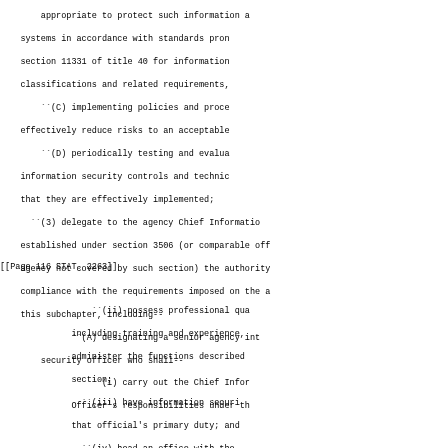(B) determining the levels of information security appropriate to protect such information and information systems in accordance with standards promulgated under section 11331 of title 40 for information security classifications and related requirements;
``(C) implementing policies and procedures to effectively reduce risks to an acceptable level;
``(D) periodically testing and evaluating information security controls and techniques to ensure that they are effectively implemented;
``(3) delegate to the agency Chief Information Officer established under section 3506 (or comparable official for an agency not covered by such section) the authority to ensure compliance with the requirements imposed on the agency under this subchapter, including--
``(A) designating a senior agency information security officer who shall--
``(i) carry out the Chief Information Officer's responsibilities under th
[[Page 116 STAT. 2263]]
``(ii) possess professional qualifications, including training and experience, required to administer the functions described under this section;
``(iii) have information security duties as that official's primary duty; and
``(iv) head an office with the mission and resources to assist in ensuring agency compliance with this section;